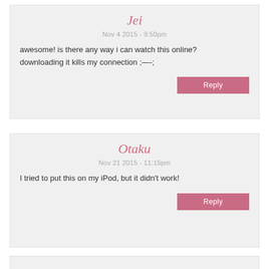Jei
Nov 4 2015 - 9:50pm
awesome! is there any way i can watch this online? downloading it kills my connection ;—-;
Reply
Otaku
Nov 21 2015 - 11:15pm
I tried to put this on my iPod, but it didn't work!
Reply